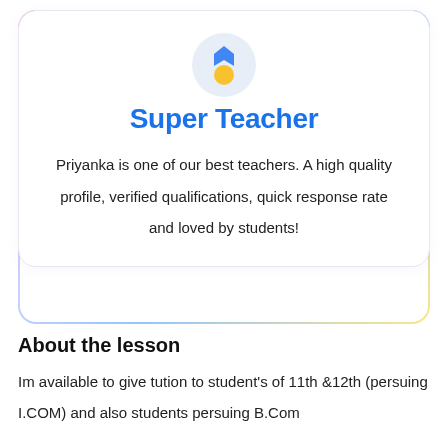[Figure (illustration): Medal icon: blue ribbon/chevron shape on top with a gold circle below, centered inside a light blue-gray circular background]
Super Teacher
Priyanka is one of our best teachers. A high quality profile, verified qualifications, quick response rate and loved by students!
About the lesson
Im available to give tution to student's of 11th &12th (persuing I.COM) and also students persuing B.Com